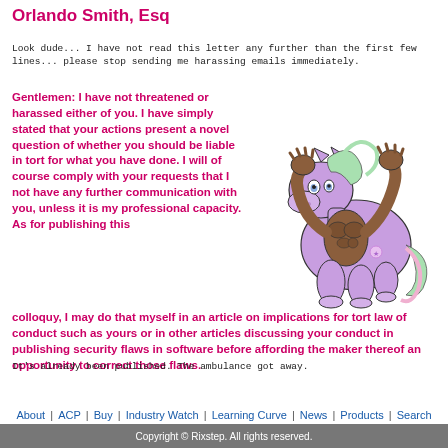Orlando Smith, Esq
Look dude... I have not read this letter any further than the first few lines... please stop sending me harassing emails immediately.
Gentlemen: I have not threatened or harassed either of you. I have simply stated that your actions present a novel question of whether you should be liable in tort for what you have done. I will of course comply with your requests that I not have any further communication with you, unless it is my professional capacity. As for publishing this colloquy, I may do that myself in an article on implications for tort law of conduct such as yours or in other articles discussing your conduct in publishing security flaws in software before affording the maker thereof an opportunity to correct those flaws.
[Figure (illustration): Cartoon illustration of a purple My Little Pony with muscular human arms raised in a fighting pose, with green hair and a pink tail, on a white background]
It's already been published. The ambulance got away.
About | ACP | Buy | Industry Watch | Learning Curve | News | Products | Search
Copyright © Rixstep. All rights reserved.